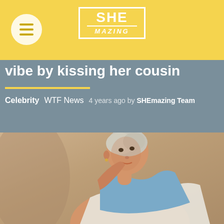SHE MAZING
vibe by kissing her cousin
Celebrity   WTF News   4 years ago by SHEmazing Team
[Figure (photo): Young woman with platinum blonde close-cropped hair, looking upward, wearing a light blue denim jacket and white draped fabric, photographed against a warm beige/tan textured wall background.]